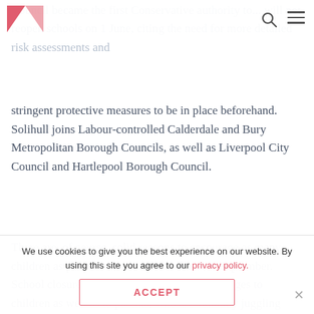Council became the first Conservative authority to... will not reopen schools on 1 June, citing the need for more detailed risk assessments and stringent protective measures to be in place beforehand.
stringent protective measures to be in place beforehand. Solihull joins Labour-controlled Calderdale and Bury Metropolitan Borough Councils, as well as Liverpool City Council and Hartlepool Borough Council.
There are, of course, solid reasons to encourage as many children as possible to return school before September. School closures have presented myriad challenges to children as well as to parents, who are valiantly juggling childcare with sustaining a busy
We use cookies to give you the best experience on our website. By using this site you agree to our privacy policy.
ACCEPT